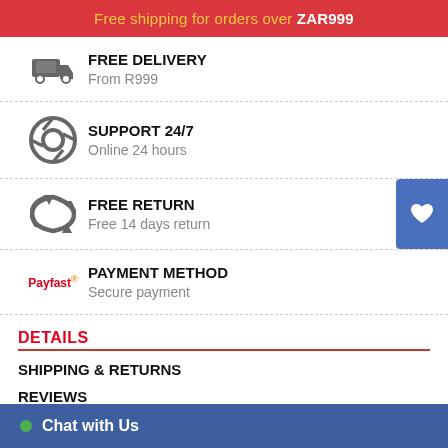Free shipping for orders over ZAR999
FREE DELIVERY
From R999
SUPPORT 24/7
Online 24 hours
FREE RETURN
Free 14 days return
PAYMENT METHOD
Secure payment
DETAILS
SHIPPING & RETURNS
REVIEWS
Chat with Us